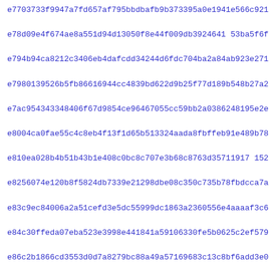e7703733f9947a7fd657af795bbdbafb9b373395a0e1941e566c921e0a912
e78d09e4f674ae8a551d94d13050f8e44f009db3924641 53ba5f6fa357eeb
e794b94ca8212c3406eb4dafcdd34244d6fdc704ba2a84ab923e2718dcdae
e7980139526b5fb86616944cc4839bd622d9b25f77d189b548b27a2e158c4
e7ac954343348406f67d9854ce96467055cc59bb2a0386248195e2e7a462f
e8004ca0fae55c4c8eb4f13f1d65b513324aada8fbffeb91e489b7825a49c
e810ea028b4b51b43b1e408c0bc8c707e3b68c8763d35711917 15219a96eb
e8256074e120b8f5824db7339e21298dbe08c350c735b78fbdcca7a67b8c0
e83c9ec84006a2a51cefd3e5dc55999dc1863a2360556e4aaaaf3c6340c63d
e84c30ffeda07eba523e3998e441841a59106330fe5b0625c2ef579c91fb7
e86c2b1866cd3553d0d7a8279bc88a49a57169683c13c8bf6add3e0059954